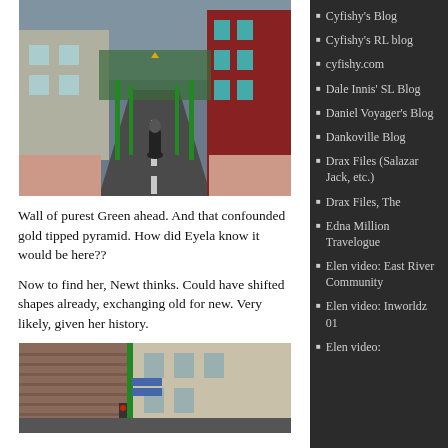[Figure (screenshot): Virtual world street scene with a figure walking down a road, buildings on either side, green pillars, and a gold-tipped pyramid visible in the background]
Wall of purest Green ahead. And that confounded gold tipped pyramid. How did Eyela know it would be here??
Now to find her, Newt thinks. Could have shifted shapes already, exchanging old for new. Very likely, given her history.
[Figure (screenshot): Virtual world urban street corner scene with brick buildings, green pillar, and street signs]
Cyfishy's Blog
Cyfishy's RL blog
cyfishy.com
Dale Innis' SL Blog
Daniel Voyager's Blog
Dankoville Blog
Drax Files (Salazar Jack, etc.)
Drax Files, The
Edna Million Travelogue
Elen video: East River Community
Elen video: Inworldz 01
Elen video: